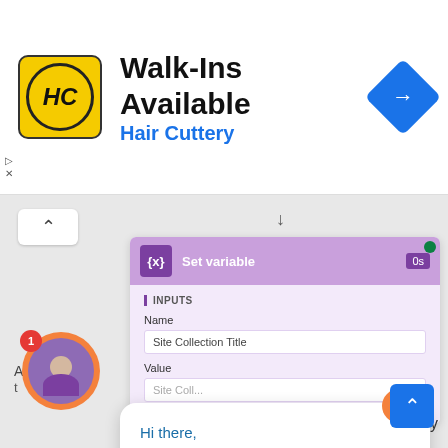[Figure (screenshot): Advertisement banner for Hair Cuttery with yellow logo, title 'Walk-Ins Available', subtitle 'Hair Cuttery', and a blue navigation diamond icon on the right.]
[Figure (screenshot): Screenshot of a workflow automation tool showing a 'Set variable' node with INPUTS section, Name field containing 'Site Collection Title', and a Value field. A chat popup appears over it saying 'Hi there, Did you find what you are looking for? I'm available to answer your questions.' with an orange X close button. An avatar with notification badge is visible at the bottom left.]